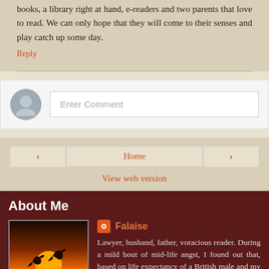books, a library right at hand, e-readers and two parents that love to read. We can only hope that they will come to their senses and play catch up some day.
Reply
Enter Comment
Home
View web version
About Me
Falaise
[Figure (photo): Sunset over water with two dolphins jumping silhouetted against the orange sun]
Lawyer, husband, father, voracious reader. During a mild bout of mid-life angst, I found out that, based on life expectancy of a British male and my average reading speed, I have only 2,606 more books to read before I expire. So I'm going to count them down and write about